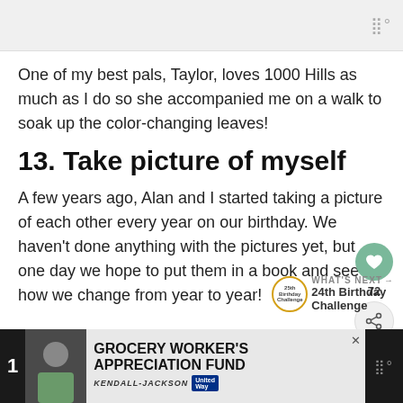One of my best pals, Taylor, loves 1000 Hills as much as I do so she accompanied me on a walk to soak up the color-changing leaves!
13. Take picture of myself
A few years ago, Alan and I started taking a picture of each other every year on our birthday. We haven't done anything with the pictures yet, but one day we hope to put them in a book and see how we change from year to year!
GROCERY WORKER'S APPRECIATION FUND